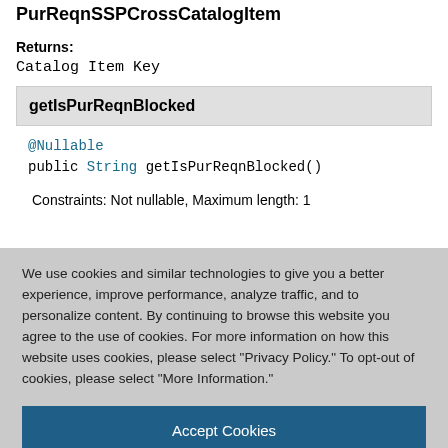PurReqnSSPCrossCatalogItem
Returns:
Catalog Item Key
getIsPurReqnBlocked
@Nullable
public String getIsPurReqnBlocked()
Constraints: Not nullable, Maximum length: 1
We use cookies and similar technologies to give you a better experience, improve performance, analyze traffic, and to personalize content. By continuing to browse this website you agree to the use of cookies. For more information on how this website uses cookies, please select "Privacy Policy." To opt-out of cookies, please select "More Information."
Accept Cookies
More Information
Privacy Policy | Powered by: TrustArc